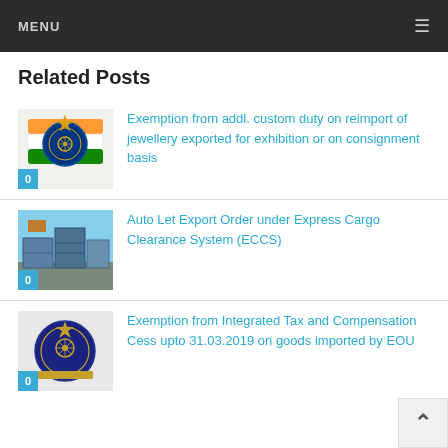MENU
Related Posts
[Figure (illustration): India Customs circular badge/emblem with tricolor flag colors (orange, white, green, blue) and star on top]
Exemption from addl. custom duty on reimport of jewellery exported for exhibition or on consignment basis
[Figure (photo): Shipping cargo containers viewed from ground level, blue sky background]
Auto Let Export Order under Express Cargo Clearance System (ECCS)
[Figure (illustration): India Customs circular badge/emblem, dark blue, with government seal/ashoka emblem in center]
Exemption from Integrated Tax and Compensation Cess upto 31.03.2019 on goods imported by EOU